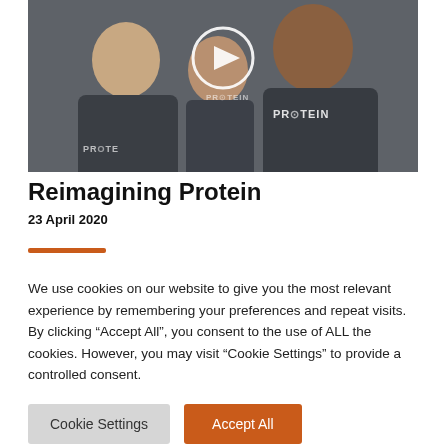[Figure (photo): Two men wearing dark 'PROTEIN' branded t-shirts, smiling. A video play button (white circle with triangle) is overlaid in the center-top of the image.]
Reimagining Protein
23 April 2020
We use cookies on our website to give you the most relevant experience by remembering your preferences and repeat visits. By clicking “Accept All”, you consent to the use of ALL the cookies. However, you may visit “Cookie Settings” to provide a controlled consent.